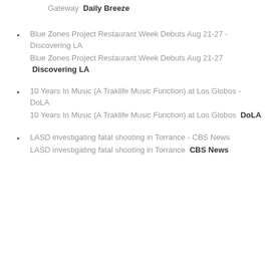Gateway  Daily Breeze
Blue Zones Project Restaurant Week Debuts Aug 21-27 - Discovering LA
Blue Zones Project Restaurant Week Debuts Aug 21-27  Discovering LA
10 Years In Music (A Traklife Music Function) at Los Globos - DoLA
10 Years In Music (A Traklife Music Function) at Los Globos  DoLA
LASD investigating fatal shooting in Torrance - CBS News
LASD investigating fatal shooting in Torrance  CBS News